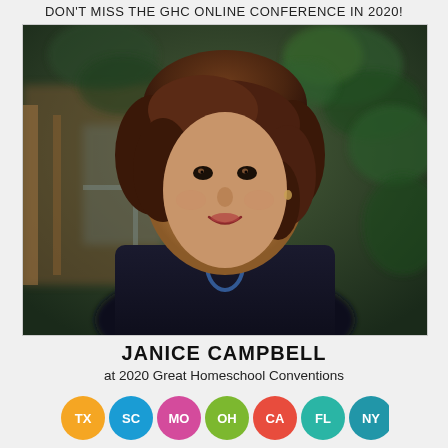DON'T MISS THE GHC ONLINE CONFERENCE IN 2020!
[Figure (photo): Portrait photo of Janice Campbell, a woman with a short brown bob haircut, smiling, wearing a dark jacket, with a garden/greenhouse background featuring ivy and wooden structures]
JANICE CAMPBELL
at 2020 Great Homeschool Conventions
[Figure (infographic): Seven colored circular badges representing states: TX (orange), SC (blue), MO (pink), OH (green), CA (red), FL (teal), NY (dark teal)]